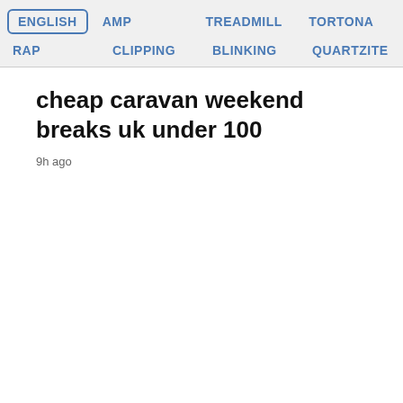ENGLISH  AMP  TREADMILL  TORTONA  RAP  CLIPPING  BLINKING  QUARTZITE
cheap caravan weekend breaks uk under 100
9h ago